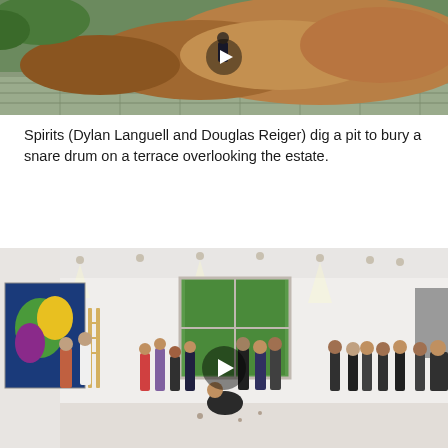[Figure (photo): Outdoor scene showing a terrace or retaining wall with a large mound of excavated brown earth/dirt. A person in dark clothing stands near the wall amid the soil mound. Green foliage is visible in the background. A play button overlay is visible.]
Spirits (Dylan Languell and Douglas Reiger) dig a pit to bury a snare drum on a terrace overlooking the estate.
[Figure (photo): Interior of a white gallery space with track lighting and large windows showing green trees outside. A group of people stand in a circle or line in the middle of the floor, appearing to engage in a performance or activity. A large colorful painting hangs on the left wall. People stand along the perimeter watching. A play button overlay is visible.]